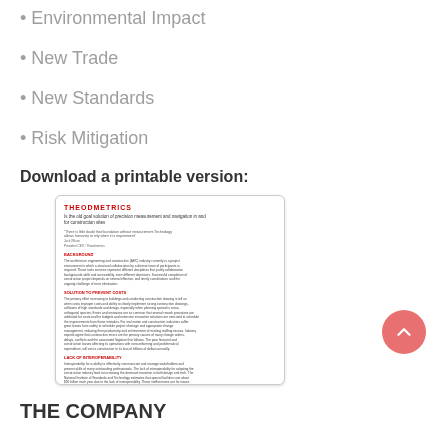• Environmental Impact
• New Trade
• New Standards
• Risk Mitigation
Download a printable version:
[Figure (other): Thumbnail preview of a printable document titled THEODMETRICS about precision measurement and navigation in and for construction sites]
THE COMPANY